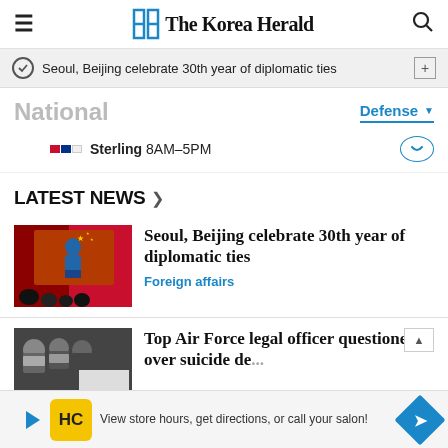The Korea Herald
Seoul, Beijing celebrate 30th year of diplomatic ties
National
Defense
Sterling 8AM–5PM
LATEST NEWS
[Figure (photo): Person speaking at a podium on a screen, crowd in foreground, Chinese flag visible]
Seoul, Beijing celebrate 30th year of diplomatic ties
Foreign affairs
[Figure (photo): Group of people in masks, partially visible, news article thumbnail]
Top Air Force legal officer questioned over suicide de...
View store hours, get directions, or call your salon!